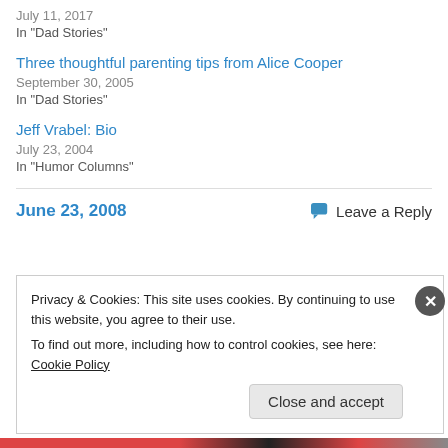July 11, 2017
In "Dad Stories"
Three thoughtful parenting tips from Alice Cooper
September 30, 2005
In "Dad Stories"
Jeff Vrabel: Bio
July 23, 2004
In "Humor Columns"
June 23, 2008
Leave a Reply
Privacy & Cookies: This site uses cookies. By continuing to use this website, you agree to their use.
To find out more, including how to control cookies, see here: Cookie Policy
Close and accept